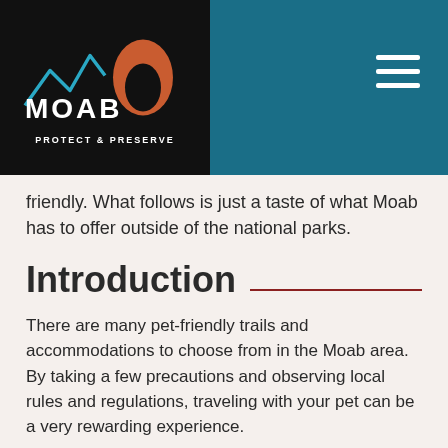[Figure (logo): Moab Protect & Preserve logo with mountain and arch icon on black background, with teal navigation bar and hamburger menu icon]
friendly. What follows is just a taste of what Moab has to offer outside of the national parks.
Introduction
There are many pet-friendly trails and accommodations to choose from in the Moab area. By taking a few precautions and observing local rules and regulations, traveling with your pet can be a very rewarding experience.
NATIONAL PARKS
Activities with pets are very limited within the National Parks of southern Utah. Pets are prohibited from the backcountry as well as on trails. Pets must be leashed at all times when outside a vehicle and may be walked only